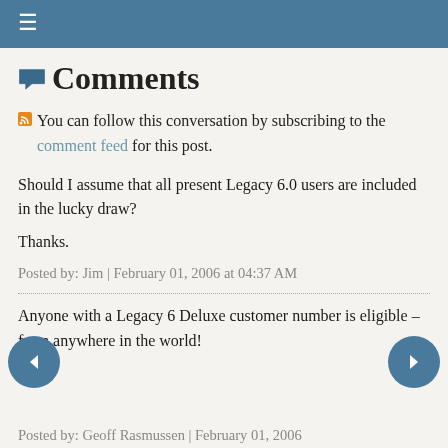≡
Comments
You can follow this conversation by subscribing to the comment feed for this post.
Should I assume that all present Legacy 6.0 users are included in the lucky draw?

Thanks.
Posted by: Jim | February 01, 2006 at 04:37 AM
Anyone with a Legacy 6 Deluxe customer number is eligible – from anywhere in the world!
Posted by: Geoff Rasmussen | February 01, 2006